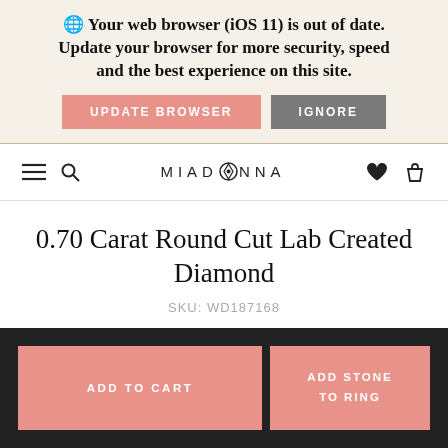🌐 Your web browser (iOS 11) is out of date. Update your browser for more security, speed and the best experience on this site.
UPDATE BROWSER
IGNORE
[Figure (logo): Miadonna logo with compass-style diamond icon in the center of the word]
0.70 Carat Round Cut Lab Created Diamond
SKU: WD187168
[Figure (photo): Product image area — white box with light border]
ADD TO CART
ADD STONE TO RING